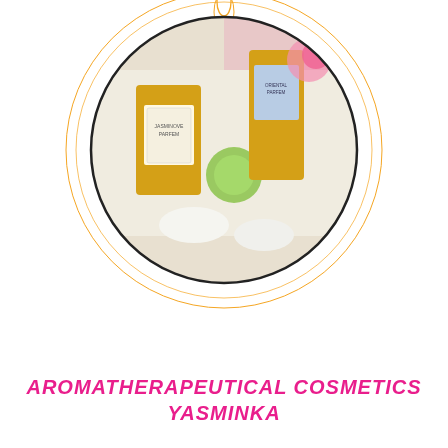[Figure (photo): Circular photo of two perfume bottles (JASMINOVE PARFEM and ORIENTAL PARFEM) with flowers, surrounded by a decorative golden geometric circle pattern with leaf/diamond motifs.]
AROMATHERAPEUTICAL COSMETICS YASMINKA